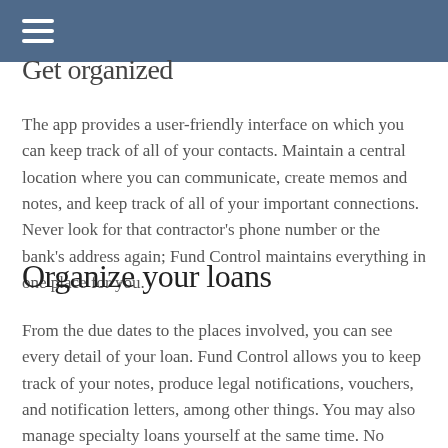Get organized
The app provides a user-friendly interface on which you can keep track of all of your contacts. Maintain a central location where you can communicate, create memos and notes, and keep track of all of your important connections. Never look for that contractor's phone number or the bank's address again; Fund Control maintains everything in one place for you.
Organize your loans
From the due dates to the places involved, you can see every detail of your loan. Fund Control allows you to keep track of your notes, produce legal notifications, vouchers, and notification letters, among other things. You may also manage specialty loans yourself at the same time. No matter which side